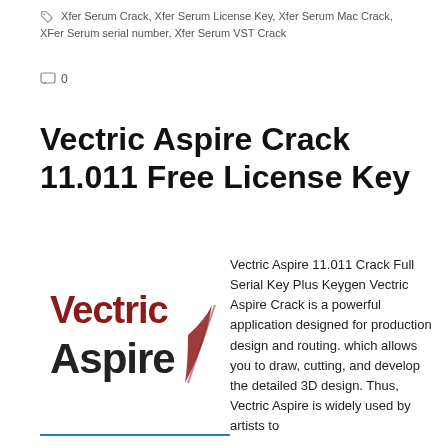Xfer Serum Crack, Xfer Serum License Key, Xfer Serum Mac Crack, Xfer Serum serial number, Xfer Serum VST Crack
0
Vectric Aspire Crack 11.011 Free License Key
[Figure (logo): Vectric Aspire logo with dark red 'Vectric' text and dark grey 'Aspire' text with a red feather/quill slash]
Vectric Aspire 11.011 Crack Full Serial Key Plus Keygen Vectric Aspire Crack is a powerful application designed for production design and routing. which allows you to draw, cutting, and develop the detailed 3D design. Thus, Vectric Aspire is widely used by artists to